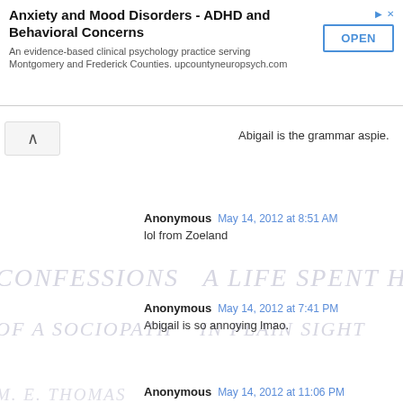[Figure (screenshot): Advertisement banner for Anxiety and Mood Disorders - ADHD and Behavioral Concerns clinical psychology practice with OPEN button]
Abigail is the grammar aspie.
Anonymous  May 14, 2012 at 8:51 AM
lol from Zoeland
Anonymous  May 14, 2012 at 7:41 PM
Abigail is so annoying lmao.
Anonymous  May 14, 2012 at 11:06 PM
So , Abigail is your "resident grammar aspie" and there's only room for one ? We need a solution to this problem . Abigail , I hereby challenge you to a lightsaber fight. You sociopaths can watch and